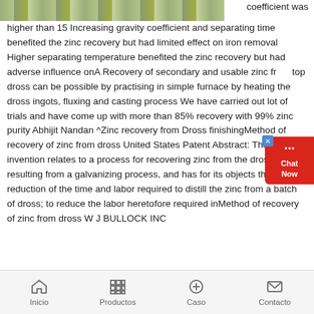[Figure (photo): Industrial or mining facility interior scene, partially visible at top left]
coefficient was higher than 15 Increasing gravity coefficient and separating time benefited the zinc recovery but had limited effect on iron removal Higher separating temperature benefited the zinc recovery but had adverse influence onA Recovery of secondary and usable zinc from top dross can be possible by practising in simple furnace by heating the dross ingots, fluxing and casting process We have carried out lot of trials and have come up with more than 85% recovery with 99% zinc purity Abhijit Nandan ^Zinc recovery from Dross finishingMethod of recovery of zinc from dross United States Patent Abstract: This invention relates to a process for recovering zinc from the dross resulting from a galvanizing process, and has for its objects the reduction of the time and labor required to distill the zinc from a batch of dross; to reduce the labor heretofore required inMethod of recovery of zinc from dross W J BULLOCK INC
Inicio   Productos   Caso   Contacto